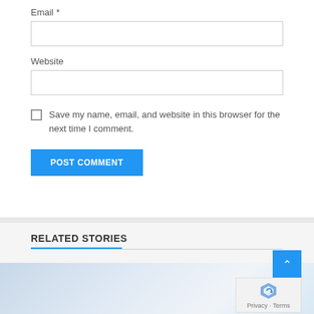Email *
Website
Save my name, email, and website in this browser for the next time I comment.
POST COMMENT
RELATED STORIES
[Figure (photo): Blurred photo of a desk or workspace, light blue tones]